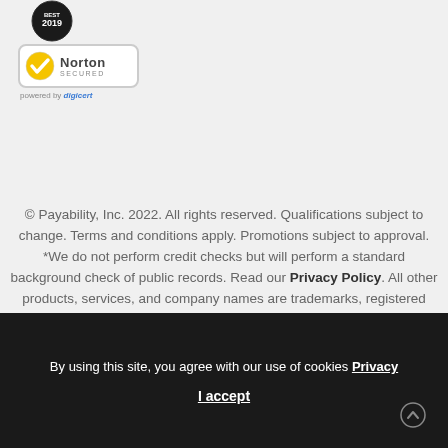[Figure (logo): Black circular badge with '2019' text at top of page]
[Figure (logo): Norton Secured powered by digicert logo badge]
© Payability, Inc. 2022. All rights reserved. Qualifications subject to change. Terms and conditions apply. Promotions subject to approval. *We do not perform credit checks but will perform a standard background check of public records. Read our Privacy Policy. All other products, services, and company names are trademarks, registered trademarks or service marks of their respective owners.
[Figure (other): Social media icons: Facebook, YouTube, Instagram, LinkedIn, Twitter]
By using this site, you agree with our use of cookies Privacy
I accept